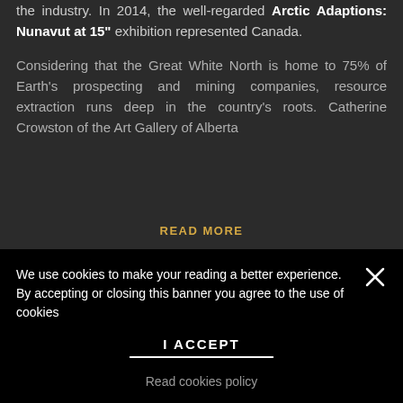the industry. In 2014, the well-regarded Arctic Adaptions: Nunavut at 15" exhibition represented Canada.
Considering that the Great White North is home to 75% of Earth's prospecting and mining companies, resource extraction runs deep in the country's roots. Catherine Crowston of the Art Gallery of Alberta
READ MORE
We use cookies to make your reading a better experience. By accepting or closing this banner you agree to the use of cookies
I ACCEPT
Read cookies policy